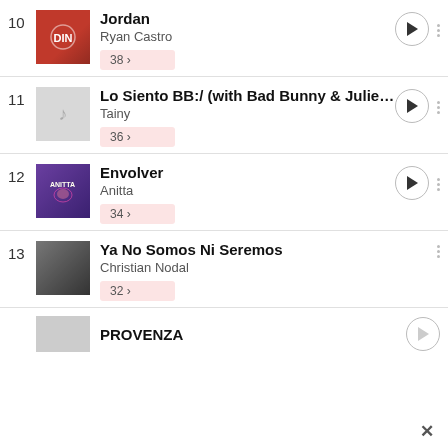10 Jordan — Ryan Castro — 38
11 Lo Siento BB:/ (with Bad Bunny & Juliet... — Tainy — 36
12 Envolver — Anitta — 34
13 Ya No Somos Ni Seremos — Christian Nodal — 32
PROVENZA (partial)